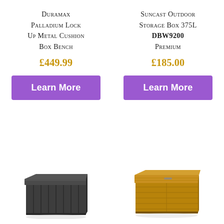Duramax Palladium Lock Up Metal Cushion Box Bench
£449.99
Learn More
Suncast Outdoor Storage Box 375L DBW9200 Premium
£185.00
Learn More
[Figure (photo): Dark grey metal cushion box bench storage unit]
[Figure (photo): Wooden outdoor storage deck box with tan/brown finish]